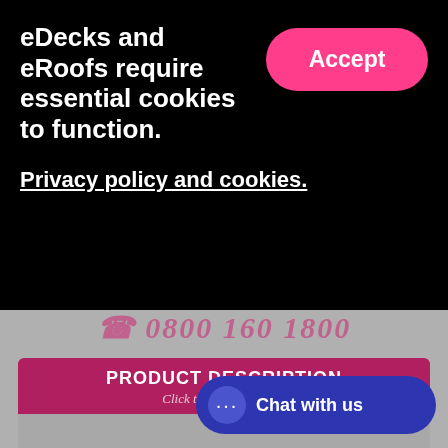eDecks and eRoofs require essential cookies to function.
Accept
Privacy policy and cookies.
☎ 0800 160 1800
PRODUCT DESCRIPTION
Click to Expand / Close
Timber Shiplap is an attractive and economical way to finish the exterior of both new and old buildings.
Shiplap is tongue and grooved enabling utmost protection from wind and rain.
Please ensure you have chosen your lengths correctly as we cut this product, especially to your requirements -